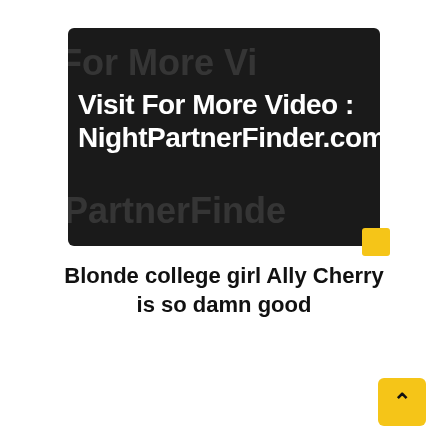[Figure (screenshot): Dark video thumbnail with white bold text reading 'Visit For More Video : NightPartnerFinder.com' and semi-transparent watermark text repeated in background. Small yellow square badge at bottom-right corner of thumbnail.]
Blonde college girl Ally Cherry is so damn good